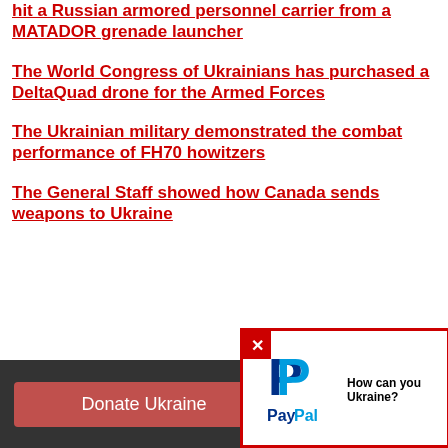hit a Russian armored personnel carrier from a MATADOR grenade launcher
The World Congress of Ukrainians has purchased a DeltaQuad drone for the Armed Forces
The Ukrainian military demonstrated the combat performance of FH70 howitzers
The General Staff showed how Canada sends weapons to Ukraine
Donate Ukraine
How can you Ukraine?